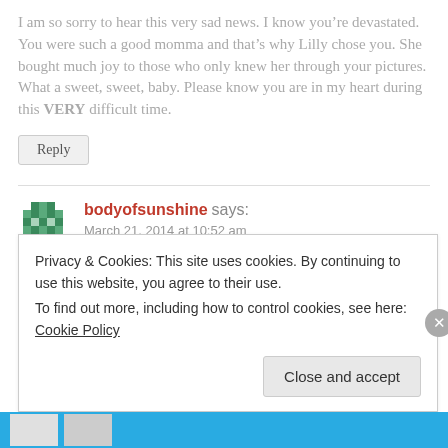I am so sorry to hear this very sad news. I know you’re devastated. You were such a good momma and that’s why Lilly chose you. She bought much joy to those who only knew her through your pictures. What a sweet, sweet, baby. Please know you are in my heart during this VERY difficult time.
Reply
bodyofsunshine says:
March 21, 2014 at 10:52 am
Privacy & Cookies: This site uses cookies. By continuing to use this website, you agree to their use.
To find out more, including how to control cookies, see here: Cookie Policy
Close and accept